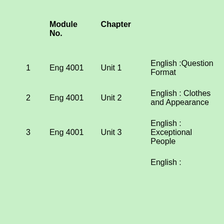|  | Module No. | Chapter |  |
| --- | --- | --- | --- |
| 1 | Eng 4001 | Unit 1 | English :Question Format |
| 2 | Eng 4001 | Unit 2 | English : Clothes and Appearance |
| 3 | Eng 4001 | Unit 3 | English : Exceptional People |
|  |  |  | English : |